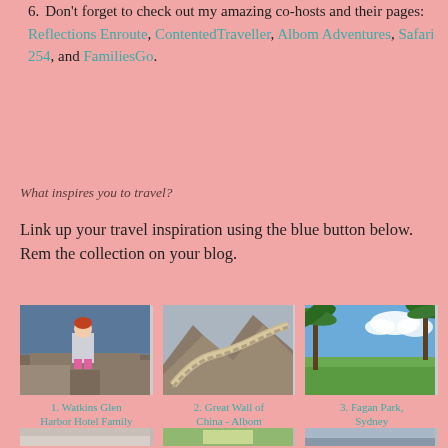6. Don't forget to check out my amazing co-hosts and their pages: Reflections Enroute, ContentedTraveller, Albom Adventures, Safari 254, and FamiliesGo.
What inspires you to travel?
Link up your travel inspiration using the blue button below. Rem the collection on your blog.
[Figure (photo): Young girl with red hair standing on rocks near water, wearing a grey dress and pink boots]
1. Watkins Glen Harbor Hotel Family Review | Families
[Figure (photo): Aerial or elevated view of the Great Wall of China winding through mountainous terrain]
2. Great Wall of China - Albom Adventures
[Figure (photo): Green park landscape with palm trees and blue sky with clouds, Fagan Park Sydney]
3. Fagan Park, Sydney